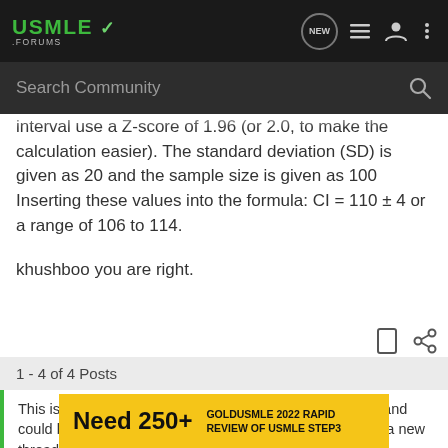USMLE Forums — Navigation header with search bar
interval use a Z-score of 1.96 (or 2.0, to make the calculation easier). The standard deviation (SD) is given as 20 and the sample size is given as 100 Inserting these values into the formula: CI = 110 ± 4 or a range of 106 to 114.
khushboo you are right.
1 - 4 of 4 Posts
This is an older thread, you may not receive a response, and could be reviving an old thread. Please consider creating a new thread.
Need 250+  GOLDUSMLE 2022 RAPID REVIEW OF USMLE STEP3